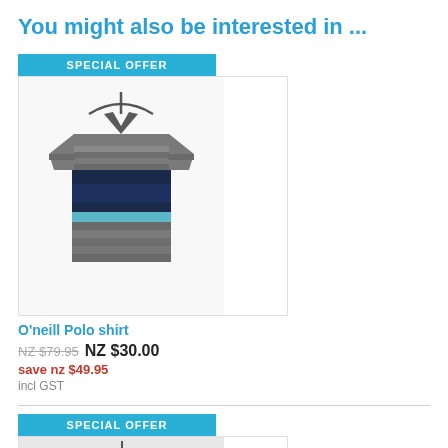You might also be interested in ...
[Figure (photo): O'Neill polo shirt on a hanger, striped pattern with grey, dark navy, and light blue horizontal stripes]
O'neills Polo shirt
NZ $79.95  NZ $30.00
save nz $49.95
incl GST
[Figure (photo): A clothes hanger visible at the top of a second product card]